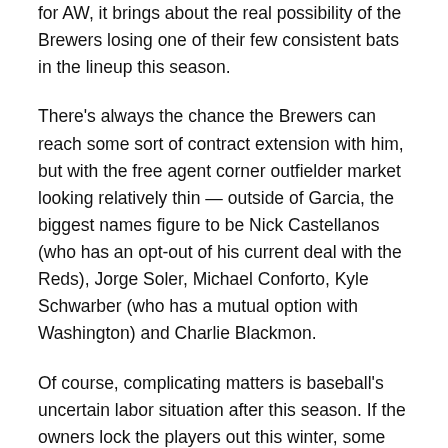for AW, it brings about the real possibility of the Brewers losing one of their few consistent bats in the lineup this season.
There's always the chance the Brewers can reach some sort of contract extension with him, but with the free agent corner outfielder market looking relatively thin — outside of Garcia, the biggest names figure to be Nick Castellanos (who has an opt-out of his current deal with the Reds), Jorge Soler, Michael Conforto, Kyle Schwarber (who has a mutual option with Washington) and Charlie Blackmon.
Of course, complicating matters is baseball's uncertain labor situation after this season. If the owners lock the players out this winter, some may just want to get a deal on paper quickly, before the economic landscape of the game changes.